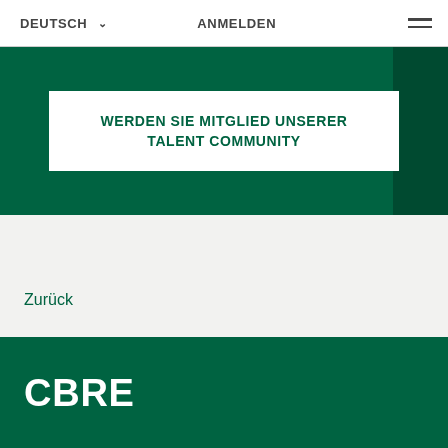DEUTSCH   ANMELDEN
WERDEN SIE MITGLIED UNSERER TALENT COMMUNITY
Zurück
[Figure (logo): CBRE logo in white text on dark green background]